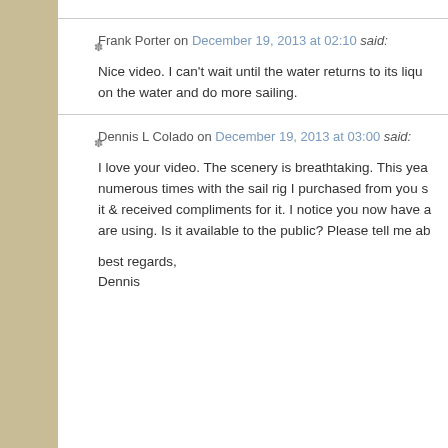Frank Porter on December 19, 2013 at 02:10 said:
Nice video. I can't wait until the water returns to its liquid state so I can get back on the water and do more sailing.
Dennis L Colado on December 19, 2013 at 03:00 said:
I love your video. The scenery is breathtaking. This year I have gone out numerous times with the sail rig I purchased from you several years ago. I love it & received compliments for it. I notice you now have a new rig that you are using. Is it available to the public? Please tell me ab...

best regards,
Dennis